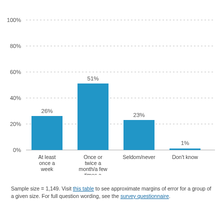[Figure (bar-chart): ]
Sample size = 1,149. Visit this table to see approximate margins of error for a group of a given size. For full question wording, see the survey questionnaire.